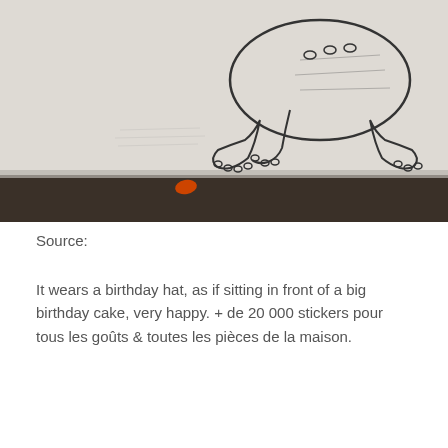[Figure (photo): A pencil sketch drawing of an animal (appears to be a bear or similar creature) on white paper, photographed from above. The sketch shows the body/torso of the animal with legs. The paper is resting on a dark surface. There is a small orange/red object visible near the bottom of the image.]
Source:
It wears a birthday hat, as if sitting in front of a big birthday cake, very happy. + de 20 000 stickers pour tous les goûts & toutes les pièces de la maison.